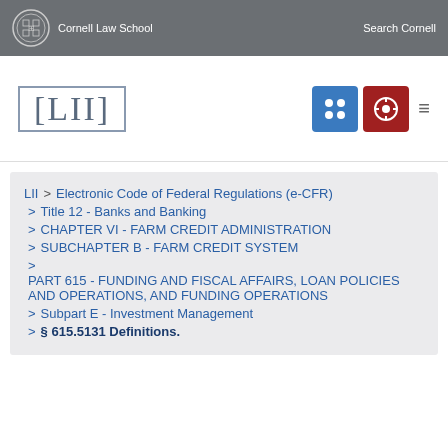Cornell Law School | Search Cornell
[Figure (logo): LII Legal Information Institute logo with navigation icons]
LII > Electronic Code of Federal Regulations (e-CFR) > Title 12 - Banks and Banking > CHAPTER VI - FARM CREDIT ADMINISTRATION > SUBCHAPTER B - FARM CREDIT SYSTEM > PART 615 - FUNDING AND FISCAL AFFAIRS, LOAN POLICIES AND OPERATIONS, AND FUNDING OPERATIONS > Subpart E - Investment Management > § 615.5131 Definitions.